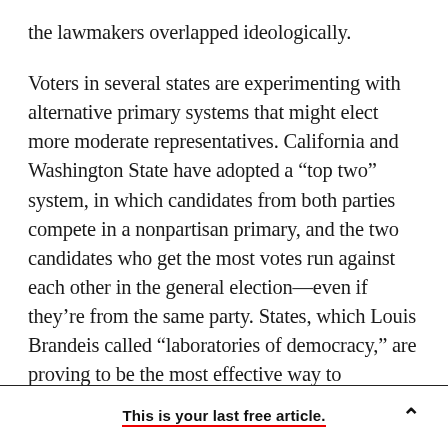the lawmakers overlapped ideologically.
Voters in several states are experimenting with alternative primary systems that might elect more moderate representatives. California and Washington State have adopted a “top two” system, in which candidates from both parties compete in a nonpartisan primary, and the two candidates who get the most votes run against each other in the general election—even if they’re from the same party. States, which Louis Brandeis called “laboratories of democracy,” are proving to be the most effective way to encourage deliberation at a
This is your last free article.